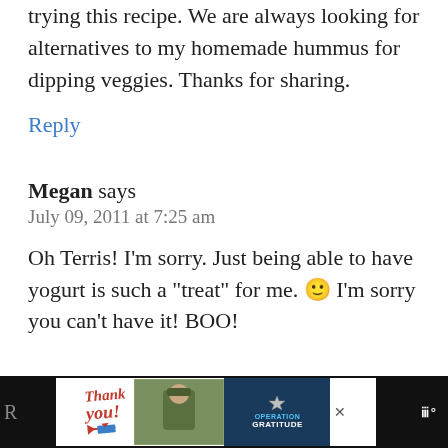trying this recipe. We are always looking for alternatives to my homemade hummus for dipping veggies. Thanks for sharing.
Reply
Megan says
July 09, 2011 at 7:25 am
Oh Terris! I'm sorry. Just being able to have yogurt is such a "treat" for me. 🙂 I'm sorry you can't have it! BOO!
[Figure (screenshot): Advertisement banner at bottom: Operation Gratitude 'Thank you' ad with soldier image on dark background]